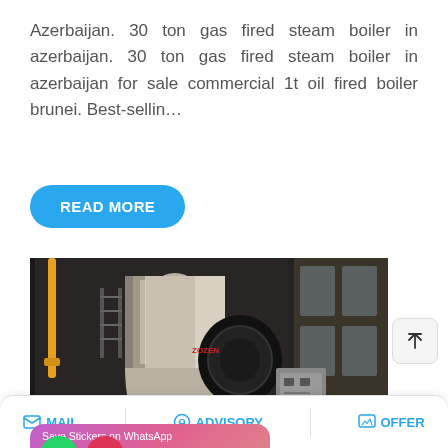Azerbaijan. 30 ton gas fired steam boiler in azerbaijan. 30 ton gas fired steam boiler in azerbaijan for sale commercial 1t oil fired boiler brunei. Best-sellin…
READ MORE
[Figure (photo): Industrial gas-fired steam boiler in a factory setting, large cylindrical silver/steel tank with a black front burner assembly and attached control cabinet]
Save Stickers on WhatsApp
MAIL   ADVISORY   OFFER